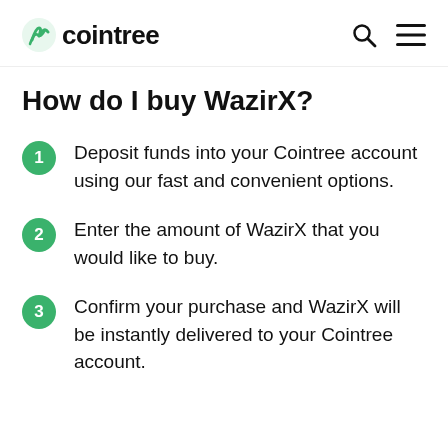cointree
How do I buy WazirX?
Deposit funds into your Cointree account using our fast and convenient options.
Enter the amount of WazirX that you would like to buy.
Confirm your purchase and WazirX will be instantly delivered to your Cointree account.